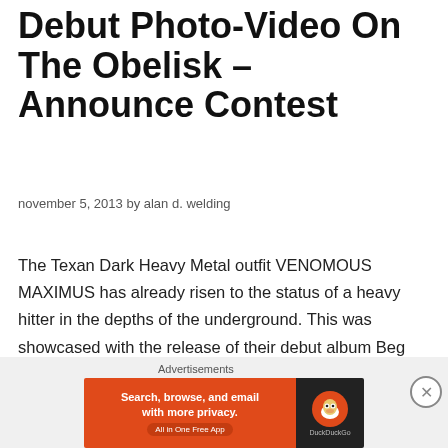Debut Photo-Video On The Obelisk – Announce Contest
november 5, 2013 by alan d. welding
The Texan Dark Heavy Metal outfit VENOMOUS MAXIMUS has already risen to the status of a heavy hitter in the depths of the underground. This was showcased with the release of their debut album Beg Upon The Light earlier this year via Napalm Records.  The album is available for purchase on iTunes and Amazon. Today the band has released what they are … Continue reading
Advertisements
[Figure (screenshot): DuckDuckGo advertisement banner: orange left panel with text 'Search, browse, and email with more privacy. All in One Free App' and dark right panel with DuckDuckGo duck logo]